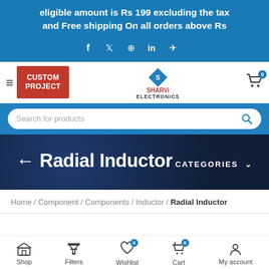eligible amount is Rs 199 excluding the tax and Free shipping On all orders above Rs
[Figure (screenshot): Social media icons bar: Facebook, Twitter, Pinterest, LinkedIn, Telegram]
[Figure (logo): Sharvi Electronics navigation bar with Custom Project button, Sharvi Electronics logo, and cart icon with badge 0]
[Figure (screenshot): Search bar with placeholder text 'Search for products' and search icon]
← Radial Inductor
CATEGORIES ∨
Home / Component / Components / Inductor / Radial Inductor
[Figure (screenshot): Bottom navigation bar with Shop, Filters, Wishlist (badge 0), Cart (badge 0), My account icons]